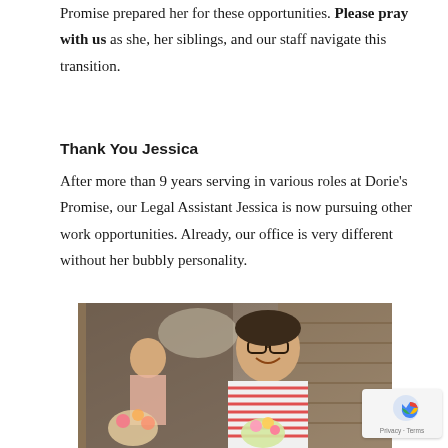Promise prepared her for these opportunities. Please pray with us as she, her siblings, and our staff navigate this transition.
Thank You Jessica
After more than 9 years serving in various roles at Dorie's Promise, our Legal Assistant Jessica is now pursuing other work opportunities. Already, our office is very different without her bubbly personality.
[Figure (photo): A woman with glasses smiling, holding flowers, with a mirror reflection visible behind her showing another person.]